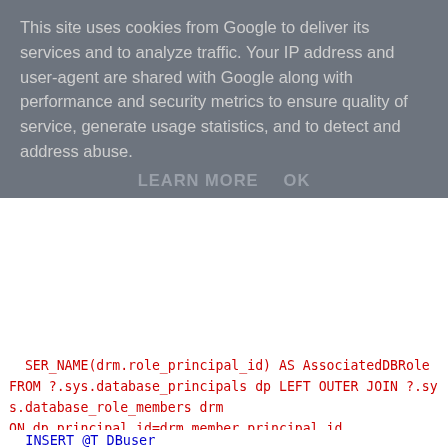This site uses cookies from Google to deliver its services and to analyze traffic. Your IP address and user-agent are shared with Google along with performance and security metrics to ensure quality of service, generate usage statistics, and to detect and address abuse.
LEARN MORE    OK
SER_NAME(drm.role_principal_id) AS AssociatedDBRole  FROM ?.sys.database_principals dp LEFT OUTER JOIN ?.sys.database_role_members drm ON dp.principal_id=drm.member_principal_id WHERE dp.sid NOT IN (0x01) AND dp.sid IS NOT NULL AND dp.type NOT IN (''C'') AND dp.is_fixed_role <> 1 AND dp.name NOT LIKE ''##%'' AND ''?'' NOT IN (''master'',''msdb'',''model'',''tempdb'') ORDER BY DBName'
INSERT @T_DBuser
EXEC Sp_msforeachdb
  @SQLStatement